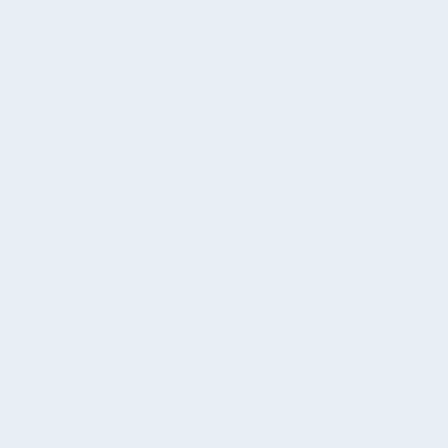| Volume | Chapters |
| --- | --- |
|  | Secret - To Be Continued at the Battlefield - Author's Notes |
| Volume 24 | Novel Illust. - Prologue - Chapter 1 - Chapter 2 - Chapter 3 - Chapter 4 - Epilogue - Life is Goodbye |
| Volume 25 | Novel Illust. - Early Diamond - Barbeque Pop - Bus-jack Time Wear My... |